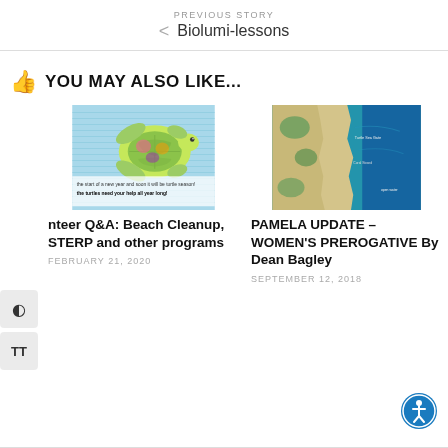PREVIOUS STORY
Biolumi-lessons
YOU MAY ALSO LIKE...
[Figure (illustration): Colorful illustrated sea turtle on blue background with text overlay: 'the start of a new year and soon it will be turtle season! the turtles need your help all year long!']
Volunteer Q&A: Beach Cleanup, STERP and other programs
FEBRUARY 21, 2020
[Figure (photo): Aerial satellite/map view of a coastal area with teal water and sandy land, showing a barrier island or peninsula]
PAMELA UPDATE – WOMEN'S PREROGATIVE By Dean Bagley
SEPTEMBER 12, 2018